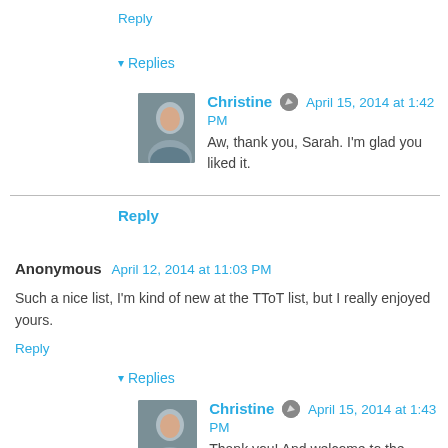Reply
▾ Replies
Christine  April 15, 2014 at 1:42 PM
Aw, thank you, Sarah. I'm glad you liked it.
Reply
Anonymous  April 12, 2014 at 11:03 PM
Such a nice list, I'm kind of new at the TToT list, but I really enjoyed yours.
Reply
▾ Replies
Christine  April 15, 2014 at 1:43 PM
Thank you! And welcome to the TToT!